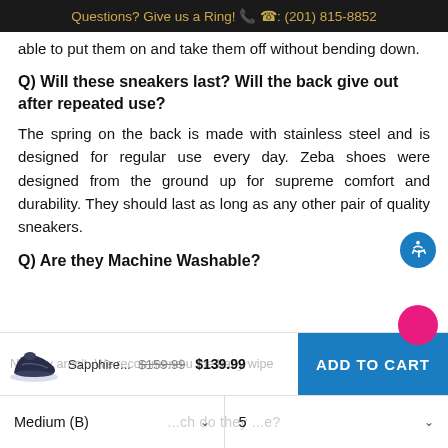Questions? Give us a Ring! 📞 ☎: (201) 815-8852
able to put them on and take them off without bending down.
Q) Will these sneakers last? Will the back give out after repeated use?
The spring on the back is made with stainless steel and is designed for regular use every day. Zeba shoes were designed from the ground up for supreme comfort and durability. They should last as long as any other pair of quality sneakers.
Q) Are they Machine Washable?
No they aren't. We recommend u the baby wipe solution...